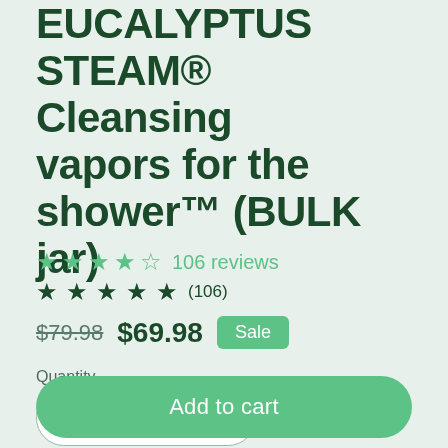EUCALYPTUS STEAM® Cleansing vapors for the shower™ (BULK jar)
★★★★☆ 106 reviews
★ ★ ★ ★ ★ (106)
$79.98  $69.98  Sale
Quantity
− 1 +
Add to cart